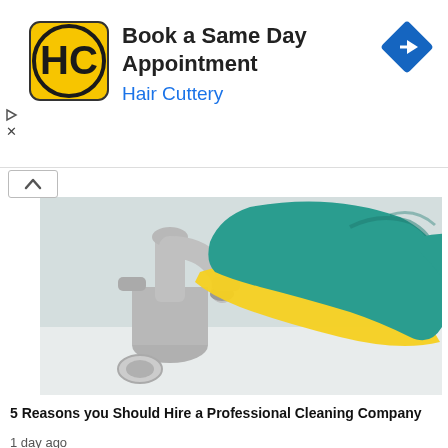[Figure (logo): Hair Cuttery ad banner with HC logo, text 'Book a Same Day Appointment' and 'Hair Cuttery', blue diamond arrow icon, and play/close icons on left.]
[Figure (photo): Close-up photo of a hand wearing a teal/blue rubber glove wiping a chrome bathroom faucet with a yellow cloth.]
5 Reasons you Should Hire a Professional Cleaning Company
1 day ago
[Figure (photo): Partially visible thumbnail showing green folders/documents, charts with pie charts and bar graphs, and glasses on a light background.]